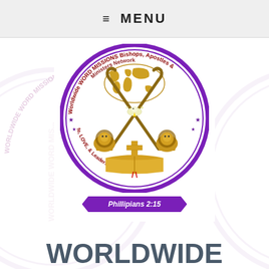≡ MENU
[Figure (logo): Circular seal/logo for Worldwide Word Missions Bishops, Apostles & Ministers Network. Features two lions, a cross, an open Bible, a dove, shepherd's crooks crossed, a world map, and stars. Text around ring reads: 'Worldwide WORD MISSIONS Bishops, Apostles & Ministers Network' and 'Impacting Christ Life, LOVE, & Leadership Globally'. Background watermark repeats the same circular logo.]
Phillipians 2:15
WORLDWIDE